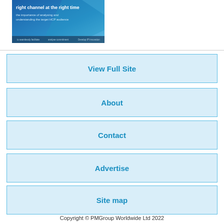[Figure (illustration): Blue gradient banner image with text 'right channel at the right time' and subtitle 'the importance of analysing and understanding the target HCP audience']
View Full Site
About
Contact
Advertise
Site map
Copyright © PMGroup Worldwide Ltd 2022